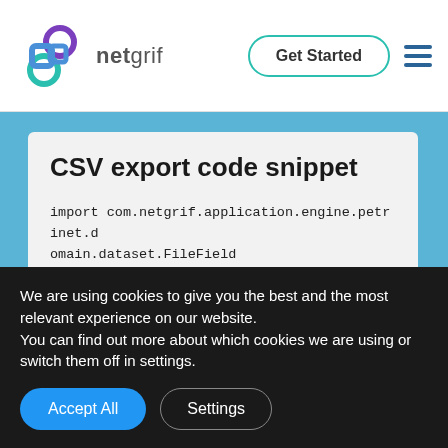netgrif — Get Started
CSV export code snippet
import com.netgrif.application.engine.petrinet.domain.dataset.FileField
import com.netgrif.application.engine.workflow.domain.QCase
import com.netgrif.application.engine.workflow.domain.Case
We are using cookies to give you the best and the most relevant experience on our website.
You can find out more about which cookies we are using or switch them off in settings.